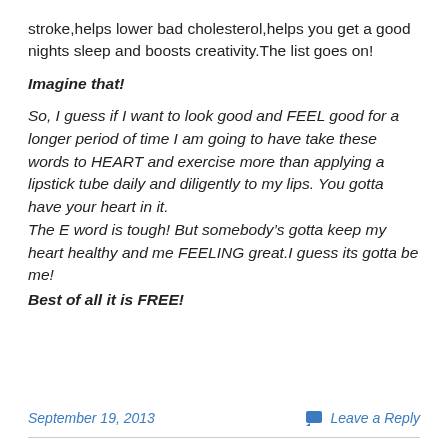stroke,helps lower bad cholesterol,helps you get a good nights sleep and boosts creativity.The list goes on!
Imagine that!
So, I guess if I want to look good and FEEL good for a longer period of time I am going to have take these words to HEART and exercise more than applying a lipstick tube daily and diligently to my lips. You gotta have your heart in it.
The E word is tough! But somebody’s gotta keep my heart healthy and me FEELING great.I guess its gotta be me!
Best of all it is FREE!
September 19, 2013   Leave a Reply